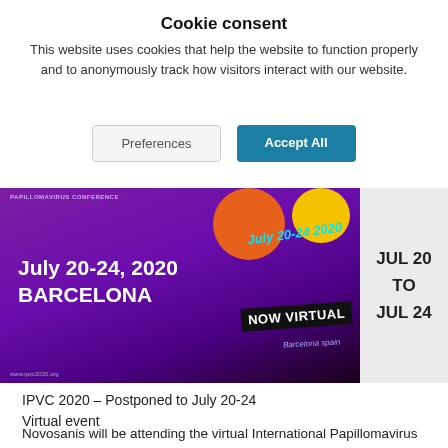Cookie consent
This website uses cookies that help the website to function properly and to anonymously track how visitors interact with our website.
[Figure (screenshot): Conference banner for IPVC 2020 showing 'July 20-24, 2020 BARCELONA' text on purple background with 'NOW VIRTUAL' overlay and decorative orange and yellow circles. Date box on the right shows JUL 20 TO JUL 24.]
IPVC 2020 – Postponed to July 20-24
Virtual event
Novosanis will be attending the virtual International Papillomavirus Conference from July 20 to 24. IPVC 2020 will gather researchers, clinicians and other health